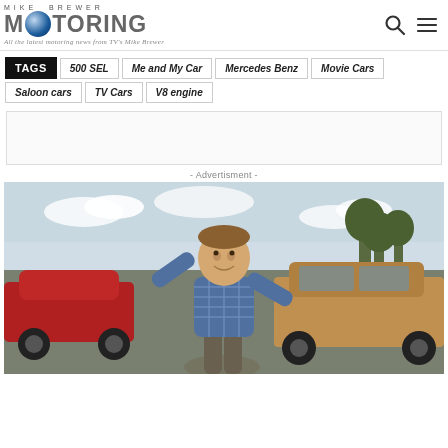[Figure (logo): Mike Brewer Motoring logo with globe icon and tagline 'All the latest motoring news from TV's Mike Brewer']
TAGS  500 SEL  Me and My Car  Mercedes Benz  Movie Cars  Saloon cars  TV Cars  V8 engine
[Figure (other): Empty advertisement box placeholder]
- Advertisment -
[Figure (photo): Man in plaid shirt standing with arms outstretched in a car lot with classic/vintage cars including a red car on the left and a brown/tan car on the right, with trees in background]